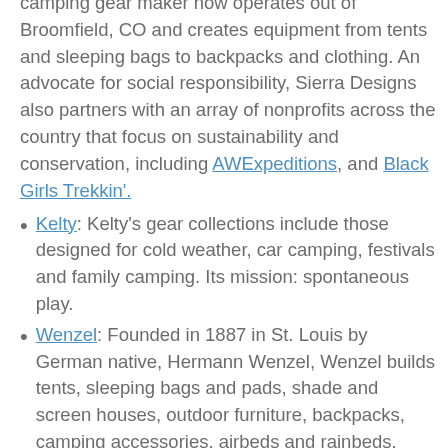camping gear maker now operates out of Broomfield, CO and creates equipment from tents and sleeping bags to backpacks and clothing. An advocate for social responsibility, Sierra Designs also partners with an array of nonprofits across the country that focus on sustainability and conservation, including AWExpeditions, and Black Girls Trekkin'.
Kelty: Kelty's gear collections include those designed for cold weather, car camping, festivals and family camping. Its mission: spontaneous play.
Wenzel: Founded in 1887 in St. Louis by German native, Hermann Wenzel, Wenzel builds tents, sleeping bags and pads, shade and screen houses, outdoor furniture, backpacks, camping accessories, airbeds and rainbeds.